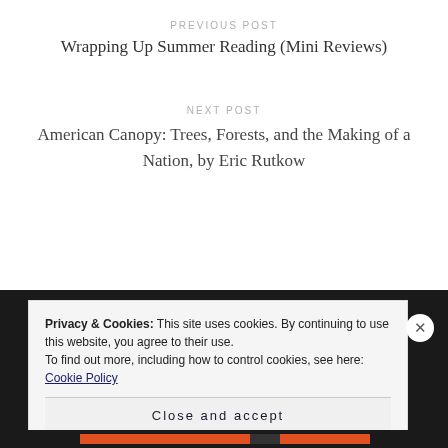PREVIOUS POST
Wrapping Up Summer Reading (Mini Reviews)
NEXT POST
American Canopy: Trees, Forests, and the Making of a Nation, by Eric Rutkow
Privacy & Cookies: This site uses cookies. By continuing to use this website, you agree to their use.
To find out more, including how to control cookies, see here: Cookie Policy
Close and accept